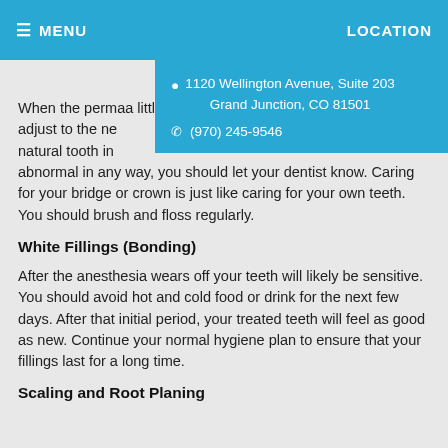≡ MENU    LOCATION
1120 Wellington Avenue, Suite 203 Grand Junction, CO 81501  (970) 245-9546
When the perma... a little awkward... adjust to the ne... natural tooth in... abnormal in any way, you should let your dentist know. Caring for your bridge or crown is just like caring for your own teeth. You should brush and floss regularly.
White Fillings (Bonding)
After the anesthesia wears off your teeth will likely be sensitive. You should avoid hot and cold food or drink for the next few days. After that initial period, your treated teeth will feel as good as new. Continue your normal hygiene plan to ensure that your fillings last for a long time.
Scaling and Root Planing